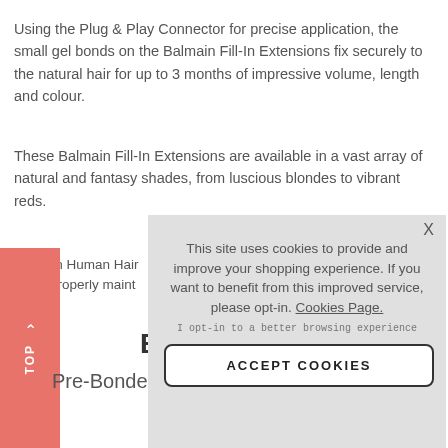Using the Plug & Play Connector for precise application, the small gel bonds on the Balmain Fill-In Extensions fix securely to the natural hair for up to 3 months of impressive volume, length and colour.
These Balmain Fill-In Extensions are available in a vast array of natural and fantasy shades, from luscious blondes to vibrant reds.
Balmain Human Hair when properly maint
[Figure (screenshot): Cookie consent overlay with text: This site uses cookies to provide and improve your shopping experience. If you want to benefit from this improved service, please opt-in. Cookies Page. | I opt-in to a better browsing experience | ACCEPT COOKIES button]